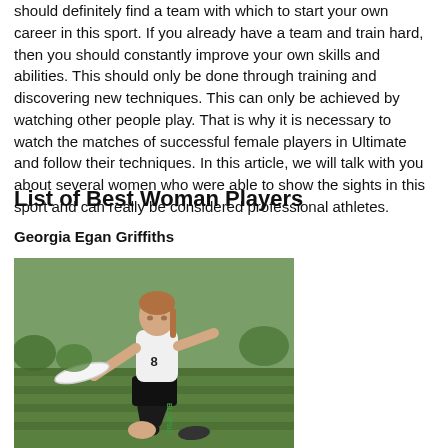should definitely find a team with which to start your own career in this sport. If you already have a team and train hard, then you should constantly improve your own skills and abilities. This should only be done through training and discovering new techniques. This can only be achieved by watching other people play. That is why it is necessary to watch the matches of successful female players in Ultimate and follow their techniques. In this article, we will talk with you about several women who were able to show the sights in this sport and can really be considered professional athletes.
List of Best Woman Players
Georgia Egan Griffiths
[Figure (photo): A female Ultimate frisbee player wearing a white jersey and black shorts labeled 'ELLIPSIS', throwing a frisbee on a grass field.]